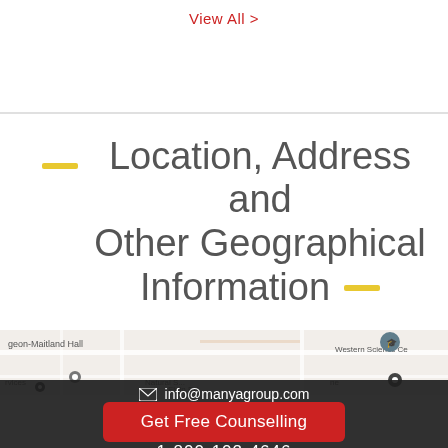View All >
Location, Address and Other Geographical Information
[Figure (map): Google Maps view showing university campus area with roads, labels including 'geon-Maitland Hall', 'Natural S...', 'Western Science Ce', 'rvices', 'Elgin Rd', location pins, and a graduation cap icon]
info@manyagroup.com
Get Free Counselling
1-800-102-4646